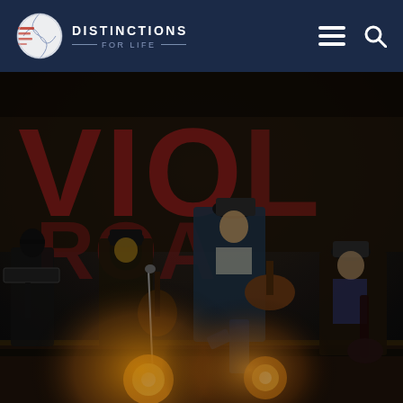Distinctions For Life
[Figure (photo): Band performing on stage. Several musicians playing instruments including mandolin and guitar, with a banner partially visible in the background reading 'VIO...' and stage lighting with bright spots at front of stage.]